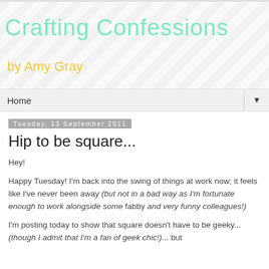[Figure (illustration): Blog banner with diagonal grey and white stripes background, 'Crafting Confessions' title in mint/teal handwritten font, 'by Amy Gray' subtitle in yellow handwritten font]
Home ▼
Tuesday, 13 September 2011
Hip to be square...
Hey!
Happy Tuesday! I'm back into the swing of things at work now; it feels like I've never been away (but not in a bad way as I'm fortunate enough to work alongside some fabby and very funny colleagues!)
I'm posting today to show that square doesn't have to be geeky... (though I admit that I'm a fan of geek chic!)... but